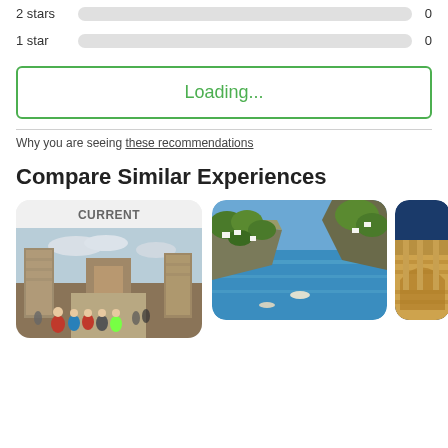[Figure (infographic): 2 stars rating bar showing 0 count with a gray progress bar]
[Figure (infographic): 1 star rating bar showing 0 count with a gray progress bar]
Loading...
Why you are seeing these recommendations
Compare Similar Experiences
[Figure (photo): CURRENT card showing a photo of Pompeii ruins with tourists in foreground]
[Figure (photo): Photo of coastal cliffs with green vegetation and houses, possibly Capri]
[Figure (photo): Partial photo showing illuminated stone architecture at night, possibly Colosseum]